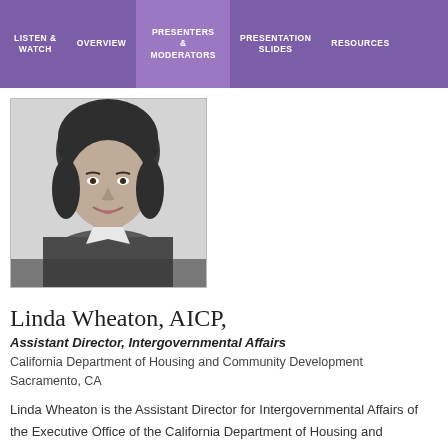LISTEN & WATCH | OVERVIEW | PRESENTERS & MODERATORS | PRESENTATION SLIDES | RESOURCES
[Figure (photo): Black and white headshot photo of Linda Wheaton, a woman with a short dark bob haircut, wearing a patterned jacket, smiling at the camera.]
Linda Wheaton, AICP,
Assistant Director, Intergovernmental Affairs
California Department of Housing and Community Development
Sacramento, CA
Linda Wheaton is the Assistant Director for Intergovernmental Affairs of the Executive Office of the California Department of Housing and Community Development (HCD). She works at the interface of housing policy, planning, and financial assistance